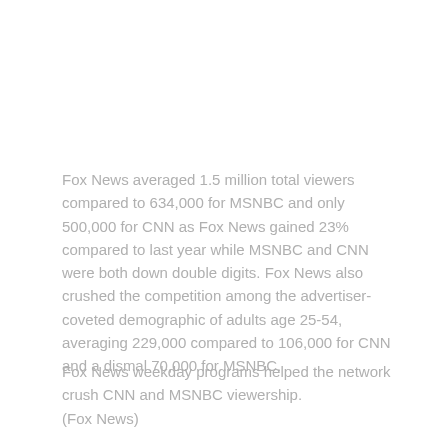Fox News averaged 1.5 million total viewers compared to 634,000 for MSNBC and only 500,000 for CNN as Fox News gained 23% compared to last year while MSNBC and CNN were both down double digits. Fox News also crushed the competition among the advertiser-coveted demographic of adults age 25-54, averaging 229,000 compared to 106,000 for CNN and a dismal 70,000 for MSNBC.
Fox News weekday programs helped the network crush CNN and MSNBC viewership.
(Fox News)